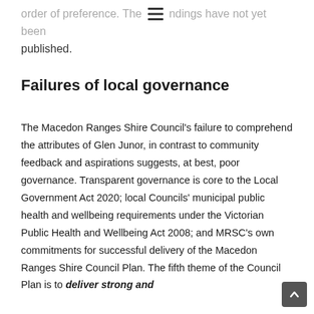order of preference. The [menu] ndings have not yet been published.
Failures of local governance
The Macedon Ranges Shire Council's failure to comprehend the attributes of Glen Junor, in contrast to community feedback and aspirations suggests, at best, poor governance. Transparent governance is core to the Local Government Act 2020; local Councils' municipal public health and wellbeing requirements under the Victorian Public Health and Wellbeing Act 2008; and MRSC's own commitments for successful delivery of the Macedon Ranges Shire Council Plan. The fifth theme of the Council Plan is to deliver strong and